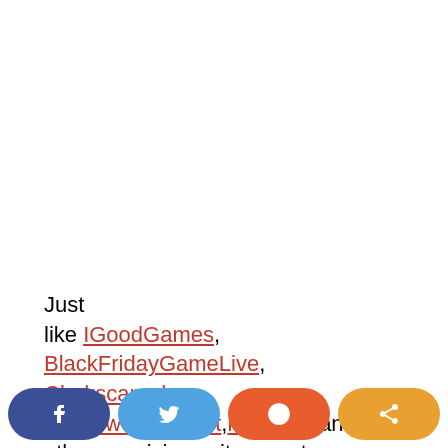Just like IGoodGames, BlackFridayGameLive, Clarkscanada, GreenworksOutlet, kesslove and other suspicious sites, customers wouldn't receive the items they ordered.
[Figure (other): Social sharing buttons bar: Facebook, Twitter, Reddit, and a generic share button]